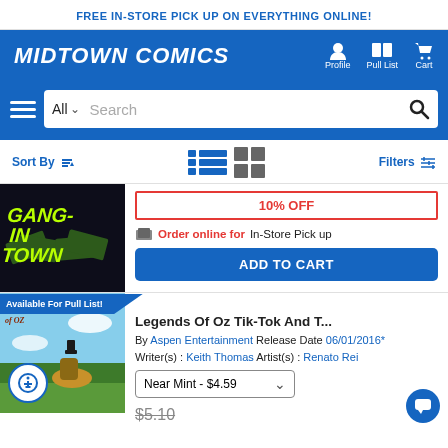FREE IN-STORE PICK UP ON EVERYTHING ONLINE!
[Figure (logo): Midtown Comics logo in white italic bold text on blue background with Profile, Pull List, Cart navigation icons]
[Figure (screenshot): Search bar with hamburger menu, All dropdown, Search placeholder and search icon on blue background]
Sort By | Filters
[Figure (photo): Comic book cover showing GANG-IN TOWN text with money on dark background]
10% OFF
Order online for In-Store Pick up
ADD TO CART
Available For Pull List!
Legends Of Oz Tik-Tok And T...
By Aspen Entertainment Release Date 06/01/2016* Writer(s) : Keith Thomas Artist(s) : Renato Rei
Near Mint - $4.59
$5.10
[Figure (photo): Comic book cover of Legends of Oz with sky and character on flying mount]